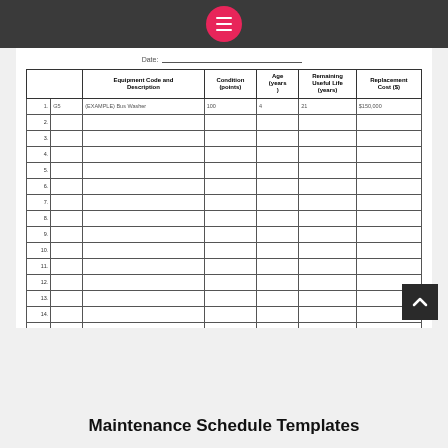[Figure (logo): Pink circular menu icon on dark grey navigation bar]
Date: ___________
|  |  | Equipment Code and Description | Condition (points) | Age (years) | Remaining Useful Life (years) | Replacement Cost ($) |
| --- | --- | --- | --- | --- | --- | --- |
| 1. | G5 | (EXAMPLE) Bus Washer | 100 | 4 | 21 | $150,000 |
| 2. |  |  |  |  |  |  |
| 3. |  |  |  |  |  |  |
| 4. |  |  |  |  |  |  |
| 5. |  |  |  |  |  |  |
| 6. |  |  |  |  |  |  |
| 7. |  |  |  |  |  |  |
| 8. |  |  |  |  |  |  |
| 9. |  |  |  |  |  |  |
| 10. |  |  |  |  |  |  |
| 11. |  |  |  |  |  |  |
| 12. |  |  |  |  |  |  |
| 13. |  |  |  |  |  |  |
| 14. |  |  |  |  |  |  |
| 15. |  |  |  |  |  |  |
| 16. |  |  |  |  |  |  |
Maintenance Schedule Templates